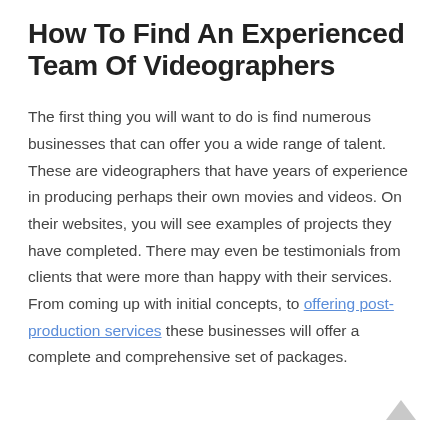How To Find An Experienced Team Of Videographers
The first thing you will want to do is find numerous businesses that can offer you a wide range of talent. These are videographers that have years of experience in producing perhaps their own movies and videos. On their websites, you will see examples of projects they have completed. There may even be testimonials from clients that were more than happy with their services. From coming up with initial concepts, to offering post-production services these businesses will offer a complete and comprehensive set of packages.